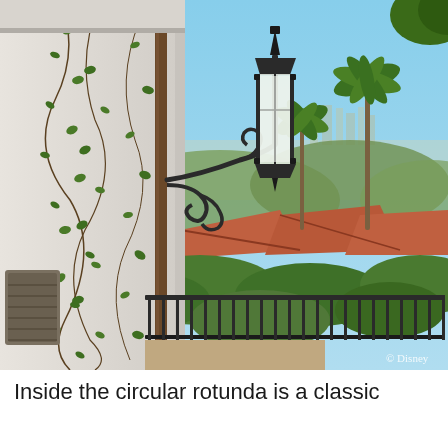[Figure (photo): Outdoor photograph showing a classic wrought-iron street lamp mounted on a bracket attached to a white stucco building covered with climbing ivy vines. In the background is a panoramic view of a hilly cityscape (Los Angeles) with palm trees, red-tiled rooftops, lush greenery, and a hazy skyline in the distance under a clear blue sky. A copyright watermark '© Disney' appears in the lower right corner of the photo.]
Inside the circular rotunda is a classic